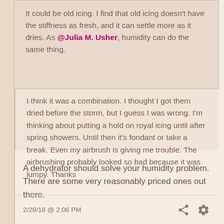It could be old icing.  I find that old icing doesn't have the stiffness as fresh, and it can settle more as it dries. As @Julia M. Usher, humidity can do the same thing.
I think it was a combination.  I thought I got them dried before the storm, but I guess I was wrong.  I'm thinking about putting a hold on royal icing until after spring showers.  Until then it's fondant or take a break.  Even my airbrush is giving me trouble.  The airbrushing probably looked so bad because it was lumpy.  Thanks
A dehydrator should solve your humidity problem.  There are some very reasonably priced ones out there.
2/28/18  @  2:06 PM